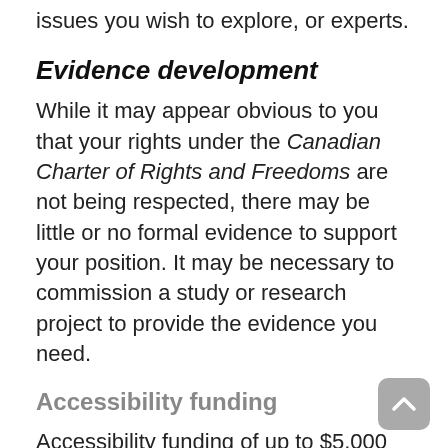issues you wish to explore, or experts.
Evidence development
While it may appear obvious to you that your rights under the Canadian Charter of Rights and Freedoms are not being respected, there may be little or no formal evidence to support your position. It may be necessary to commission a study or research project to provide the evidence you need.
Accessibility funding
Accessibility funding of up to $5,000 may be granted to ensure equal access to Program-funded activities by an